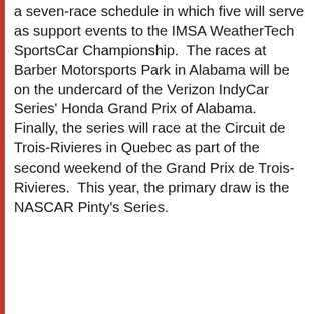a seven-race schedule in which five will serve as support events to the IMSA WeatherTech SportsCar Championship.  The races at Barber Motorsports Park in Alabama will be on the undercard of the Verizon IndyCar Series' Honda Grand Prix of Alabama.  Finally, the series will race at the Circuit de Trois-Rivieres in Quebec as part of the second weekend of the Grand Prix de Trois-Rivieres.  This year, the primary draw is the NASCAR Pinty's Series.
2017 IMSA Prototype Challenge presented by
[Figure (infographic): Advertisement banner: CarMax logo with text 'We're Open and Here to Help CarMax' and a navigation arrow icon]